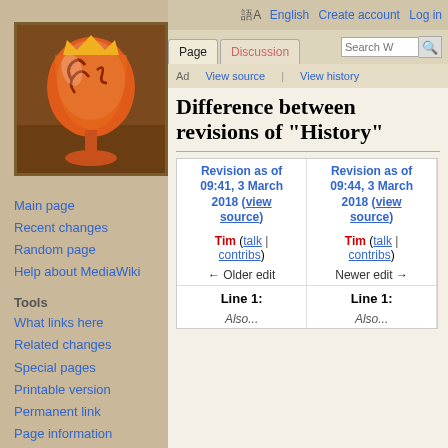[Figure (logo): MediaWiki-style wiki logo: orange decorative goblet/chalice shape on dark brown background]
English  Create account  Log in
Main page
Recent changes
Random page
Help about MediaWiki
Tools
What links here
Related changes
Special pages
Printable version
Permanent link
Page information
Cite this page
Difference between revisions of "History"
| Revision as of 09:41, 3 March 2018 (view source) | Revision as of 09:44, 3 March 2018 (view source) |
| --- | --- |
| Tim (talk | contribs) | Tim (talk | contribs) |
| ← Older edit | Newer edit → |
| Line 1: | Line 1: |
| Also... | Also... |